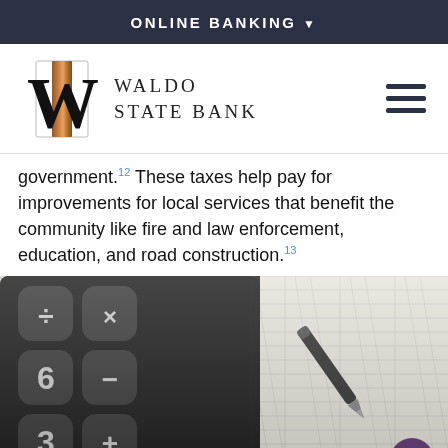ONLINE BANKING ▾
[Figure (logo): Waldo State Bank logo with stylized W and copper/gold bar, alongside text WALDO STATE BANK and a hamburger menu icon]
government.12 These taxes help pay for improvements for local services that benefit the community like fire and law enforcement, education, and road construction.13
[Figure (photo): Close-up photo of a calculator with dark keys showing numbers and symbols (×, 6, 3, +, =, .), a pen resting on a financial spreadsheet/ledger with numbered columns (34, 37, 40, 43, 46, 49, 52, 55, 58), and a paper clip visible in background.]